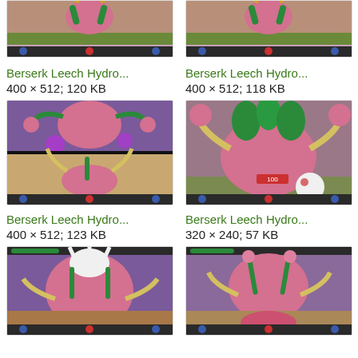[Figure (screenshot): Partial game screenshot of Berserk Leech Hydra, top portion cropped]
[Figure (screenshot): Partial game screenshot of Berserk Leech Hydra, top portion cropped]
Berserk Leech Hydro...
400 × 512; 120 KB
Berserk Leech Hydro...
400 × 512; 118 KB
[Figure (screenshot): Game screenshot of Berserk Leech Hydra with purple orbs]
[Figure (screenshot): Game screenshot of Berserk Leech Hydra close-up]
Berserk Leech Hydro...
400 × 512; 123 KB
Berserk Leech Hydro...
320 × 240; 57 KB
[Figure (screenshot): Game screenshot of Berserk Leech Hydra with purple background, partial]
[Figure (screenshot): Game screenshot of Berserk Leech Hydra with purple background, partial]